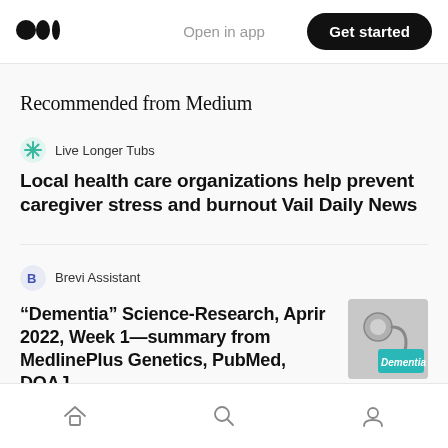Open in app | Get started
Recommended from Medium
Live Longer Tubs
Local health care organizations help prevent caregiver stress and burnout Vail Daily News
Brevi Assistant
“Dementia” Science-Research, Aprir 2022, Week 1—summary from MedlinePlus Genetics, PubMed, DOAJ…
[Figure (photo): Thumbnail image showing a stethoscope and a card reading Dementia]
Lorenz Duramdes
Home | Search | Profile